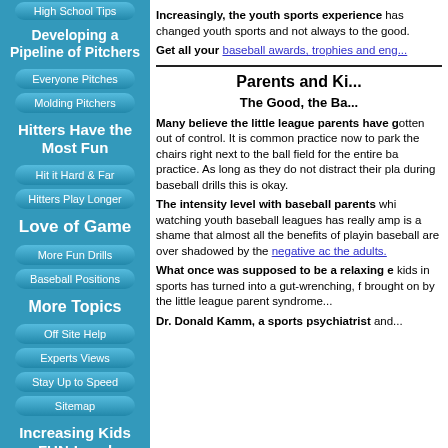High School Tips
Developing a Pipeline of Pitchers
Everyone Pitches
Molding Pitchers
Hitters Have the Most Fun
Hit it Hard & Far
Hitters Play Longer
Love of Game
More Fun Drills
Baseball Positions
More Topics
Off Site Help
Experts Views
Stay Up to Speed
Sitemap
Increasing Kids FUN-Level
Increasingly, the youth sports experience has changed youth sports and not always to the good.
Get all your baseball awards, trophies and eng...
Parents and Ki...
The Good, the Ba...
Many believe the little league parents have gotten out of control. It is common practice now to park their chairs right next to the ball field for the entire baseball practice. As long as they do not distract their players during baseball drills this is okay.
The intensity level with baseball parents while watching youth baseball leagues has really amped up. It is a shame that almost all the benefits of playing baseball are over shadowed by the negative actions of the adults.
What once was supposed to be a relaxing experience for kids in sports has turned into a gut-wrenching, feeling brought on by the little league parent syndrome...
Dr. Donald Kamm, a sports psychiatrist and...